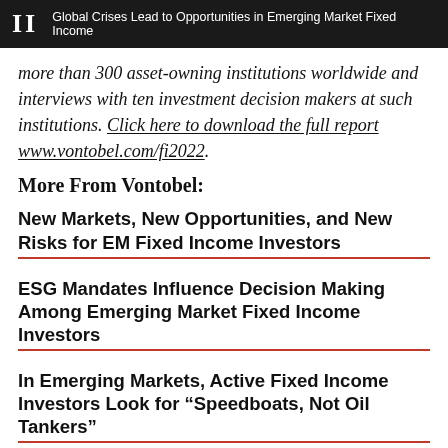II  Global Crises Lead to Opportunities in Emerging Market Fixed Income
more than 300 asset-owning institutions worldwide and interviews with ten investment decision makers at such institutions. Click here to download the full report www.vontobel.com/fi2022.
More From Vontobel:
New Markets, New Opportunities, and New Risks for EM Fixed Income Investors
ESG Mandates Influence Decision Making Among Emerging Market Fixed Income Investors
In Emerging Markets, Active Fixed Income Investors Look for “Speedboats, Not Oil Tankers”